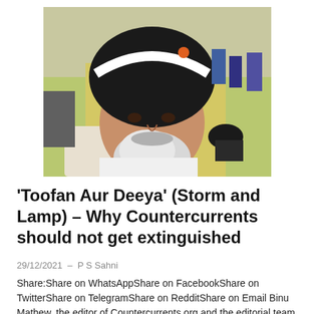[Figure (photo): Close-up photo of an elderly Sikh man wearing a black turban with a white stripe, with a grey and white beard, outdoors with people visible in the background.]
‘Toofan Aur Deeya’ (Storm and Lamp) – Why Countercurrents should not get extinguished
29/12/2021  –  P S Sahni
Share:Share on WhatsAppShare on FacebookShare on TwitterShare on TelegramShare on RedditShare on Email Binu Mathew, the editor of Countercurrents.org and the editorial team have been working selflessly with minimal